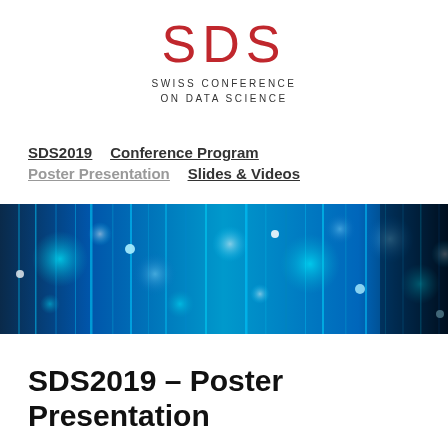[Figure (logo): SDS Swiss Conference on Data Science logo — large red 'SDS' letters above smaller text 'SWISS CONFERENCE ON DATA SCIENCE']
SDS2019   Conference Program
Poster Presentation   Slides & Videos
[Figure (photo): Abstract blue bokeh photo of fiber optic strands with glowing circular light spots on a dark background]
SDS2019 – Poster Presentation